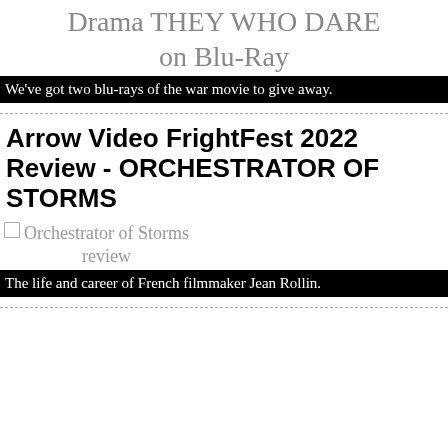Drama THEY WHO DARE on Blu-Ray
We've got two blu-rays of the war movie to give away.
Arrow Video FrightFest 2022 Review - ORCHESTRATOR OF STORMS
[Figure (photo): Broken image placeholder with alt text 'Orchestrator of Storms review']
The life and career of French filmmaker Jean Rollin.